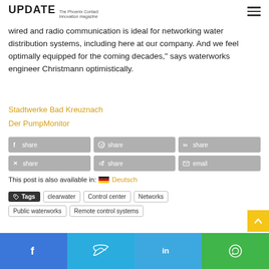UPDATE The Phoenix Contact innovation magazine
wired and radio communication is ideal for networking water distribution systems, including here at our company. And we feel optimally equipped for the coming decades," says waterworks engineer Christmann optimistically.
Stadtwerke Bad Kreuznach
Der PumpMonitor
[Figure (other): Social share buttons: Facebook share, WhatsApp share, LinkedIn share (top row); XING share, Telegram share, email (bottom row)]
This post is also available in: 🇩🇪 Deutsch
Tags: clearwater  Control center  Networks  Public waterworks  Remote control systems
[Figure (other): Bottom social sharing bar with Facebook, Twitter, LinkedIn, WhatsApp icons]